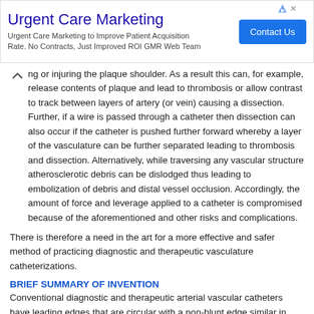[Figure (other): Advertisement banner for Urgent Care Marketing with Contact Us button]
ng or injuring the plaque shoulder. As a result this can, for example, release contents of plaque and lead to thrombosis or allow contrast to track between layers of artery (or vein) causing a dissection. Further, if a wire is passed through a catheter then dissection can also occur if the catheter is pushed further forward whereby a layer of the vasculature can be further separated leading to thrombosis and dissection. Alternatively, while traversing any vascular structure atherosclerotic debris can be dislodged thus leading to embolization of debris and distal vessel occlusion. Accordingly, the amount of force and leverage applied to a catheter is compromised because of the aforementioned and other risks and complications.
There is therefore a need in the art for a more effective and safer method of practicing diagnostic and therapeutic vasculature catheterizations.
BRIEF SUMMARY OF INVENTION
Conventional diagnostic and therapeutic arterial vascular catheters have leading edges that are circular with a non-blunt edge similar in shape to a drinking straw, for example. This may lead to vascular trauma due the